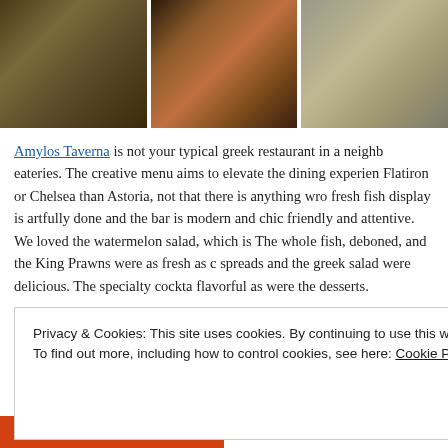[Figure (photo): Three food photos side by side: a bowl of spinach/herb dish, grilled skewered shrimp/prawns, and a white plate with fish.]
Amylos Taverna is not your typical greek restaurant in a neighborhood full of eateries. The creative menu aims to elevate the dining experience more Flatiron or Chelsea than Astoria, not that there is anything wrong... fresh fish display is artfully done and the bar is modern and chic... friendly and attentive. We loved the watermelon salad, which is... The whole fish, deboned, and the King Prawns were as fresh as c... spreads and the greek salad were delicious. The specialty cockta... flavorful as were the desserts.
Located at 33-19 Broadway Astoria, NY amylos.com (718) 215-0...
Privacy & Cookies: This site uses cookies. By continuing to use this website, you agree to their use.
To find out more, including how to control cookies, see here: Cookie Policy

Close and accept